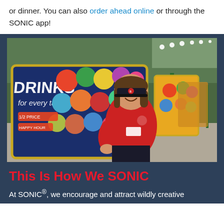or dinner. You can also order ahead online or through the SONIC app!
[Figure (photo): A smiling SONIC carhop employee in a red shirt and black visor stands in front of SONIC drive-in menu boards displaying colorful drink options.]
This Is How We SONIC
At SONIC®, we encourage and attract wildly creative